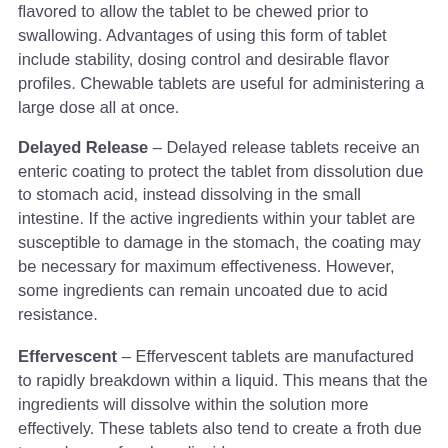flavored to allow the tablet to be chewed prior to swallowing. Advantages of using this form of tablet include stability, dosing control and desirable flavor profiles. Chewable tablets are useful for administering a large dose all at once.
Delayed Release – Delayed release tablets receive an enteric coating to protect the tablet from dissolution due to stomach acid, instead dissolving in the small intestine. If the active ingredients within your tablet are susceptible to damage in the stomach, the coating may be necessary for maximum effectiveness. However, some ingredients can remain uncoated due to acid resistance.
Effervescent – Effervescent tablets are manufactured to rapidly breakdown within a liquid. This means that the ingredients will dissolve within the solution more effectively. These tablets also tend to create a froth due to a release of carbon dioxide.